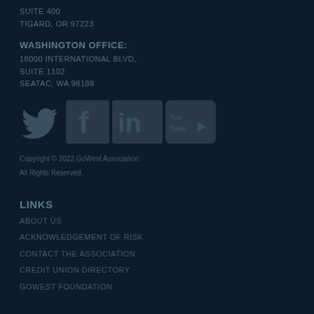SUITE 400
TIGARD, OR 97223
WASHINGTON OFFICE:
18000 INTERNATIONAL BLVD,
SUITE 1102
SEATAC, WA 98188
[Figure (logo): Social media icons: Twitter, Facebook, LinkedIn, YouTube]
Copyright © 2022 GoWest Association.
All Rights Reserved.
LINKS
ABOUT US
ACKNOWLEDGEMENT OF RISK
CONTACT THE ASSOCIATION
CREDIT UNION DIRECTORY
GOWEST FOUNDATION